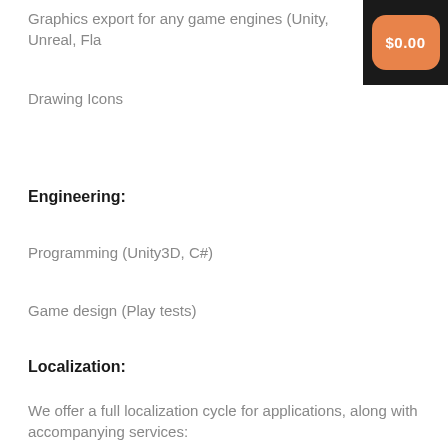Graphics export for any game engines (Unity, Unreal, Fla…
Drawing Icons
Engineering:
Programming (Unity3D, C#)
Game design (Play tests)
Localization:
We offer a full localization cycle for applications, along with accompanying services: